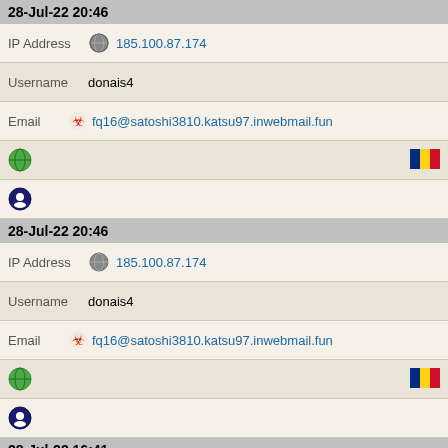28-Jul-22 20:46
IP Address 185.100.87.174
Username donais4
Email fq16@satoshi3810.katsu97.inwebmail.fun
[Figure (infographic): Globe icon and Romania flag icon row]
[Figure (infographic): Shield/privacy icon row]
28-Jul-22 20:46
IP Address 185.100.87.174
Username donais4
Email fq16@satoshi3810.katsu97.inwebmail.fun
[Figure (infographic): Globe icon and Romania flag icon row]
[Figure (infographic): Shield/privacy icon row]
28-Jul-22 16:41
IP Address 185.100.87.174
Username velmavu3
Email ql6@akihiro6710.hiraku95.officemail.in.net
[Figure (infographic): Globe icon and Romania flag icon row]